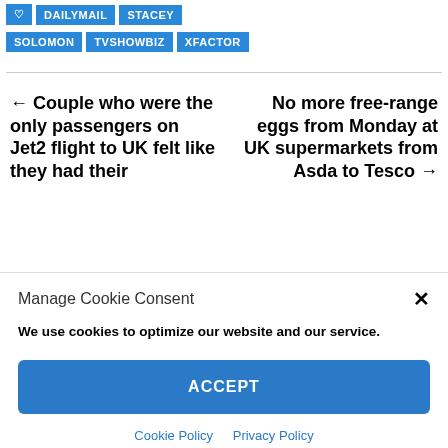♥ DAILYMAIL STACEY
SOLOMON TVSHOWBIZ XFACTOR
← Couple who were the only passengers on Jet2 flight to UK felt like they had their
No more free-range eggs from Monday at UK supermarkets from Asda to Tesco →
Manage Cookie Consent
We use cookies to optimize our website and our service.
ACCEPT
Cookie Policy  Privacy Policy